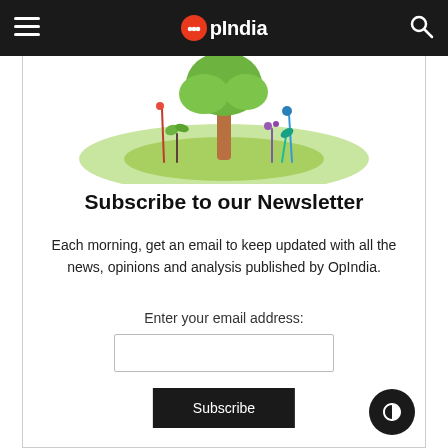OpIndia
[Figure (illustration): A whimsical illustration of a small green island with a tree, plants and colourful stems on a white background]
Subscribe to our Newsletter
Each morning, get an email to keep updated with all the news, opinions and analysis published by OpIndia.
Enter your email address: